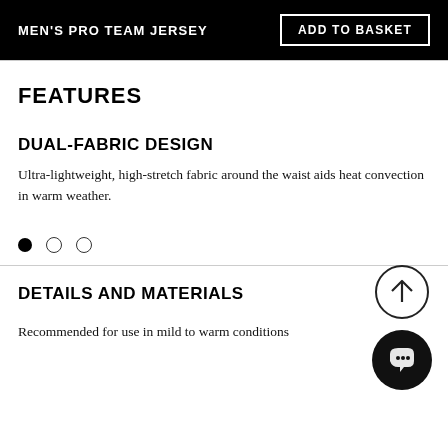MEN'S PRO TEAM JERSEY
FEATURES
DUAL-FABRIC DESIGN
Ultra-lightweight, high-stretch fabric around the waist aids heat convection in warm weather.
DETAILS AND MATERIALS
Recommended for use in mild to warm conditions